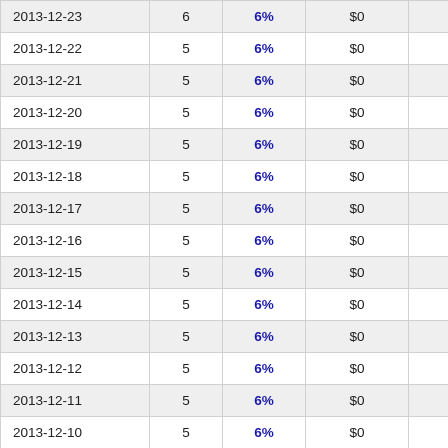| 2013-12-23 | 6 | 6% | $0 | -- |
| 2013-12-22 | 5 | 6% | $0 | -- |
| 2013-12-21 | 5 | 6% | $0 | -- |
| 2013-12-20 | 5 | 6% | $0 | -- |
| 2013-12-19 | 5 | 6% | $0 | -- |
| 2013-12-18 | 5 | 6% | $0 | -- |
| 2013-12-17 | 5 | 6% | $0 | -- |
| 2013-12-16 | 5 | 6% | $0 | -- |
| 2013-12-15 | 5 | 6% | $0 | -- |
| 2013-12-14 | 5 | 6% | $0 | -- |
| 2013-12-13 | 5 | 6% | $0 | -- |
| 2013-12-12 | 5 | 6% | $0 | -- |
| 2013-12-11 | 5 | 6% | $0 | -- |
| 2013-12-10 | 5 | 6% | $0 | -- |
| 2013-12-09 | 5 | 6% | $0 | -- |
| 2013-12-08 | 5 | 6% | $0 | -- |